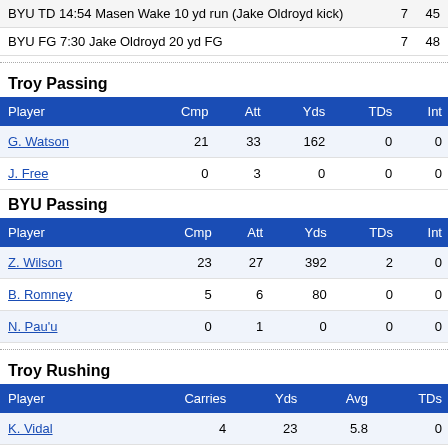|  |  |  |
| --- | --- | --- |
| BYU TD  14:54  Masen Wake 10 yd run (Jake Oldroyd kick) | 7 | 45 |
| BYU FG  7:30  Jake Oldroyd 20 yd FG | 7 | 48 |
Troy Passing
| Player | Cmp | Att | Yds | TDs | Int |
| --- | --- | --- | --- | --- | --- |
| G. Watson | 21 | 33 | 162 | 0 | 0 |
| J. Free | 0 | 3 | 0 | 0 | 0 |
BYU Passing
| Player | Cmp | Att | Yds | TDs | Int |
| --- | --- | --- | --- | --- | --- |
| Z. Wilson | 23 | 27 | 392 | 2 | 0 |
| B. Romney | 5 | 6 | 80 | 0 | 0 |
| N. Pau'u | 0 | 1 | 0 | 0 | 0 |
Troy Rushing
| Player | Carries | Yds | Avg | TDs |
| --- | --- | --- | --- | --- |
| K. Vidal | 4 | 23 | 5.8 | 0 |